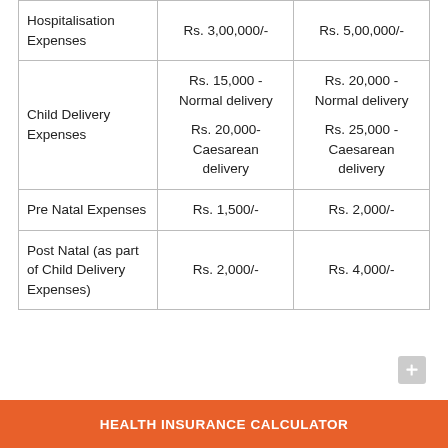| Hospitalisation Expenses | Rs. 3,00,000/- | Rs. 5,00,000/- |
| Child Delivery Expenses | Rs. 15,000 - Normal delivery
Rs. 20,000- Caesarean delivery | Rs. 20,000 - Normal delivery
Rs. 25,000 - Caesarean delivery |
| Pre Natal Expenses | Rs. 1,500/- | Rs. 2,000/- |
| Post Natal (as part of Child Delivery Expenses) | Rs. 2,000/- | Rs. 4,000/- |
HEALTH INSURANCE CALCULATOR